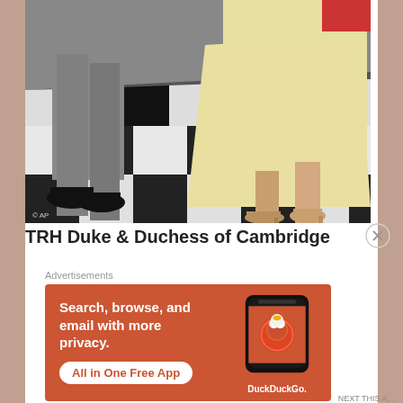[Figure (photo): Cropped photo showing the lower bodies of a man in grey suit with black dress shoes and a woman in pale yellow dress/coat with beige heels, walking on a black and white checkered marble floor. Small watermark '© AP' in bottom left corner.]
TRH Duke & Duchess of Cambridge
Advertisements
[Figure (screenshot): DuckDuckGo advertisement banner with orange/red background. Text reads 'Search, browse, and email with more privacy. All in One Free App' with a white rounded rectangle button. Right side shows a stylized phone with DuckDuckGo logo and 'DuckDuckGo.' text below.]
NEXT THIS A...